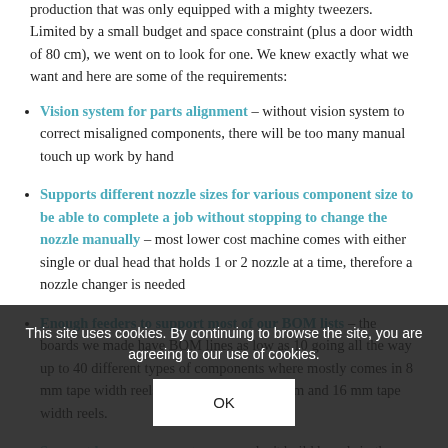production that was only equipped with a mighty tweezers. Limited by a small budget and space constraint (plus a door width of 80 cm), we went on to look for one. We knew exactly what we want and here are some of the requirements:
Vision system for parts alignment – without vision system to correct misaligned components, there will be too many manual touch up work by hand
Supports different nozzle sizes for various component size to be able to complete a job without stopping to change the nozzle manually – most lower cost machine comes with either single or dual head that holds 1 or 2 nozzle at a time, therefore a nozzle changer is needed
Enough feeders to support most of our BOM lists – the boards we made have BOM lines as low as 10 going all the way up to 40 different types of components where mostly comes in 8 mm tape width reels and remaining in 12 mm and 16 mm tape width reels.
Support loose components – as we don't build boards in the thousands, mostly parts like microcontroller and power management controller comes in
This site uses cookies. By continuing to browse the site, you are agreeing to our use of cookies.